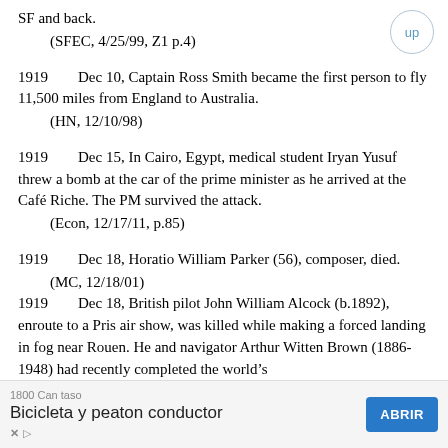SF and back.
    (SFEC, 4/25/99, Z1 p.4)
1919        Dec 10, Captain Ross Smith became the first person to fly 11,500 miles from England to Australia.
    (HN, 12/10/98)
1919        Dec 15, In Cairo, Egypt, medical student Iryan Yusuf threw a bomb at the car of the prime minister as he arrived at the Café Riche. The PM survived the attack.
    (Econ, 12/17/11, p.85)
1919        Dec 18, Horatio William Parker (56), composer, died.
    (MC, 12/18/01)
1919        Dec 18, British pilot John William Alcock (b.1892), enroute to a Pris air show, was killed while making a forced landing in fog near Rouen. He and navigator Arthur Witten Brown (1886-1948) had recently completed the world's